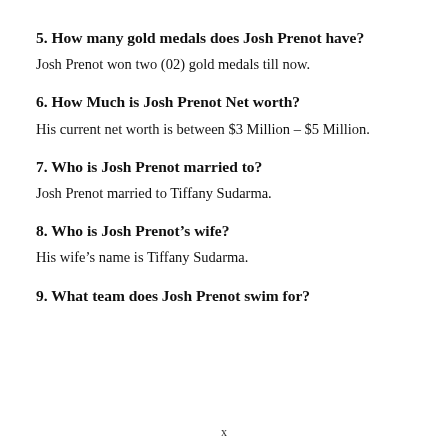5. How many gold medals does Josh Prenot have?
Josh Prenot won two (02) gold medals till now.
6. How Much is Josh Prenot Net worth?
His current net worth is between $3 Million – $5 Million.
7. Who is Josh Prenot married to?
Josh Prenot married to Tiffany Sudarma.
8. Who is Josh Prenot's wife?
His wife's name is Tiffany Sudarma.
9. What team does Josh Prenot swim for?
x